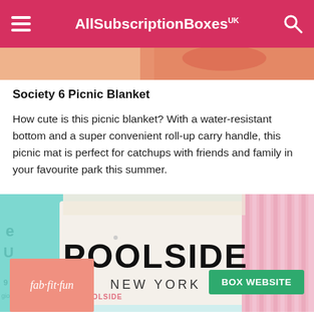AllSubscriptionBoxes UK
[Figure (photo): Partial product image strip at top of page]
Society 6 Picnic Blanket
How cute is this picnic blanket? With a water-resistant bottom and a super convenient roll-up carry handle, this picnic mat is perfect for catchups with friends and family in your favourite park this summer.
[Figure (photo): Photo of rolled-up picnic blanket with 'POOLSIDE NEW YORK' branding on white fabric, pink striped roll, and teal bag visible on left]
[Figure (logo): FabFitFun logo in white italic script on salmon/coral pink background]
BOX WEBSITE